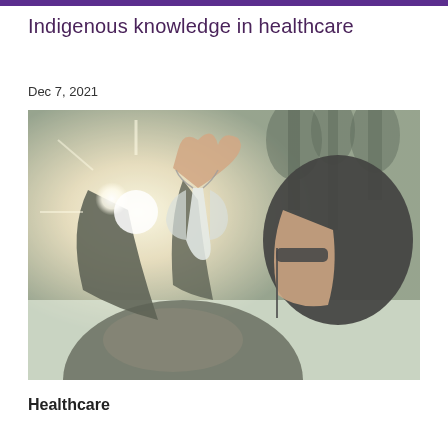Indigenous knowledge in healthcare
Dec 7, 2021
[Figure (photo): A person wearing glasses and a fur-trimmed winter coat holds up a face mask outdoors in a snowy, sunlit setting. The person appears to form a heart shape with their hands above the mask.]
Healthcare